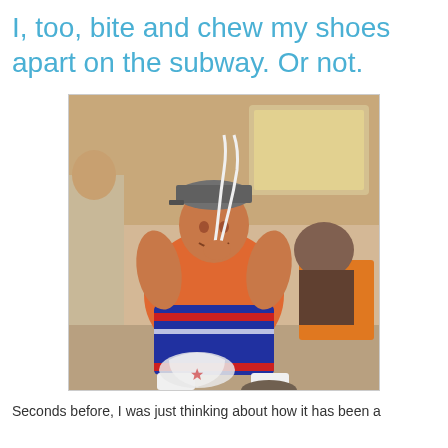I, too, bite and chew my shoes apart on the subway. Or not.
[Figure (photo): A large man sitting on a subway train, wearing a red jersey, blue athletic shorts with red and white stripes, and white socks. He is holding what appears to be a long strap or shoelace up to his mouth. A plastic bag is on the floor in front of him. Other passengers are seated nearby.]
Seconds before, I was just thinking about how it has been a